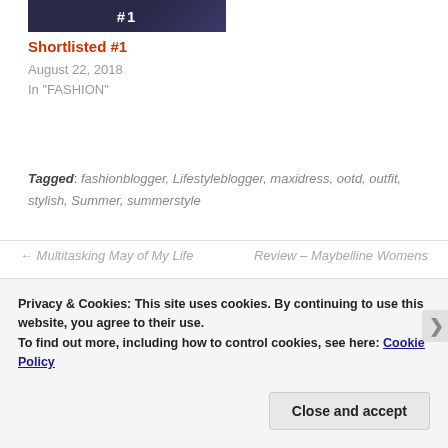[Figure (photo): Dark blue/purple image thumbnail with white bold '#1' text overlay, cropped at top]
Shortlisted #1
August 22, 2018
In "FASHION"
Tagged: fashionblogger, Lifestyleblogger, maxidress, ootd, outfit, stylish, Summer, summerstyle
← Multitasking May of My Life
Review – Maybelline Womens
Privacy & Cookies: This site uses cookies. By continuing to use this website, you agree to their use.
To find out more, including how to control cookies, see here: Cookie Policy
Close and accept